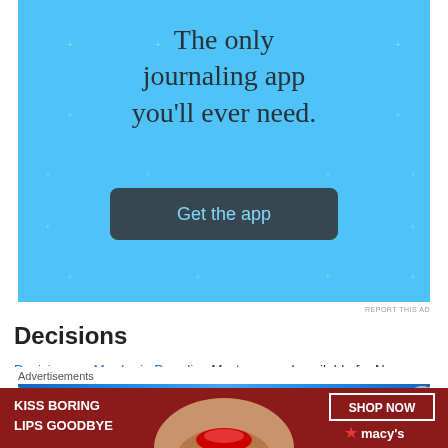[Figure (screenshot): Advertisement for a journaling app on a sky blue background with sparkle/star decorations. Text reads 'The only journaling app you'll ever need.' with a dark blue-grey 'Get the app' button.]
REPORT THIS AD
Decisions
Decisions — Murder in Paradise Mystery novel available for Nook 0
[Figure (screenshot): Bottom advertisement banner: 'KISS BORING LIPS GOODBYE' with a woman's face showing red lips, and a 'SHOP NOW' box with Macy's star logo on the right.]
Advertisements